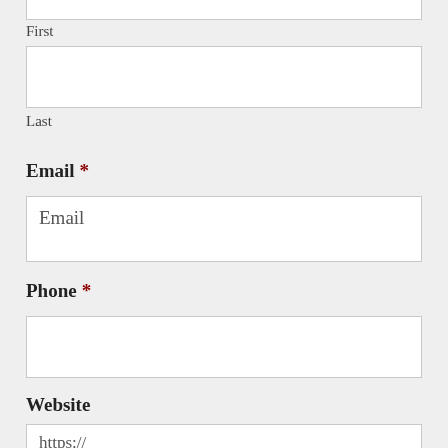[Figure (other): Empty form input box at top of page (First name field input area, top portion cut off)]
First
[Figure (other): Empty form input box for Last name]
Last
Email *
[Figure (other): Form input box with placeholder text 'Email']
Phone *
[Figure (other): Empty form input box for Phone]
Website
[Figure (other): Form input box with placeholder text 'https://']